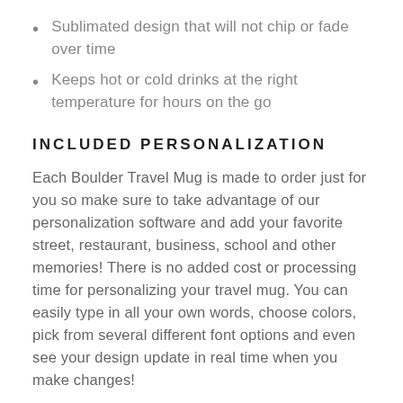Sublimated design that will not chip or fade over time
Keeps hot or cold drinks at the right temperature for hours on the go
INCLUDED PERSONALIZATION
Each Boulder Travel Mug is made to order just for you so make sure to take advantage of our personalization software and add your favorite street, restaurant, business, school and other memories! There is no added cost or processing time for personalizing your travel mug. You can easily type in all your own words, choose colors, pick from several different font options and even see your design update in real time when you make changes!
THE PERFECT GIFT